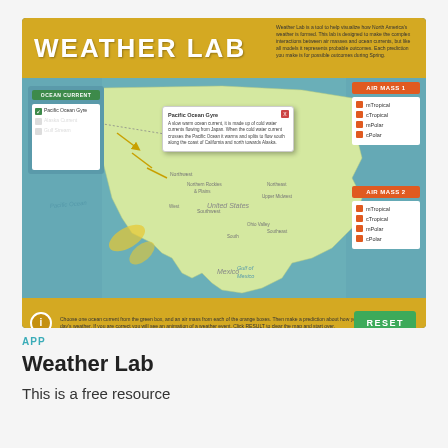[Figure (screenshot): Weather Lab interactive app screenshot showing a map of North America with ocean currents, air mass selectors, a Pacific Ocean Gyre popup tooltip, and a RESET button at the bottom.]
APP
Weather Lab
This is a free resource